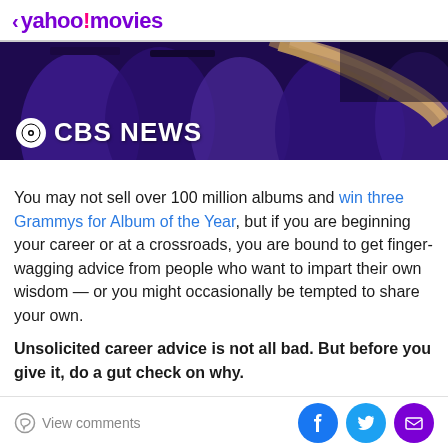< yahoo!movies
[Figure (photo): CBS News logo overlaid on a photo of people in purple graduation gowns]
You may not sell over 100 million albums and win three Grammys for Album of the Year, but if you are beginning your career or at a crossroads, you are bound to get finger-wagging advice from people who want to impart their own wisdom — or you might occasionally be tempted to share your own.
Unsolicited career advice is not all bad. But before you give it, do a gut check on why.
Career coach Jasmine Escalera said that she appreciates
View comments